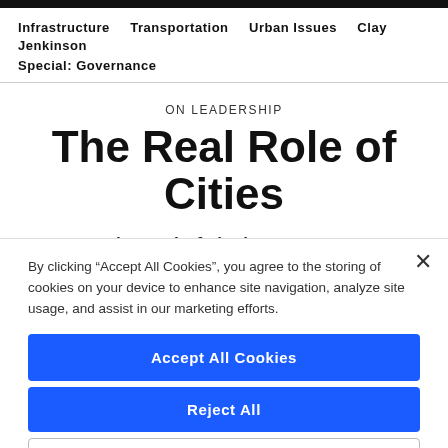Infrastructure   Transportation   Urban Issues   Clay Jenkinson   Special: Governance
ON LEADERSHIP
The Real Role of Cities
As one thoughtful city manager see it, in our focus on service delivery we're
By clicking “Accept All Cookies”, you agree to the storing of cookies on your device to enhance site navigation, analyze site usage, and assist in our marketing efforts.
Accept All Cookies
Reject All
Cookies Settings